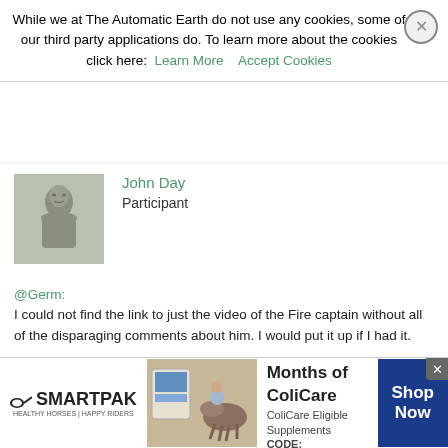While we at The Automatic Earth do not use any cookies, some of our third party applications do. To learn more about the cookies click here: Learn More   Accept Cookies
August 25, 2021 at 4:09 pm
[Figure (photo): Avatar image of a Buddha statue, user John Day]
John Day
Participant
@Germ: I could not find the link to just the video of the Fire captain without all of the disparaging comments about him. I would put it up if I had it.
August 25, 2021 at 4:11 pm   #85296
[Figure (photo): Generic placeholder avatar for praecursator]
praecursator
Participant
[Figure (other): SmartPak advertisement banner: 50% Off Two Months of ColiCare, ColiCare Eligible Supplements, CODE: COLICARE10, Shop Now]